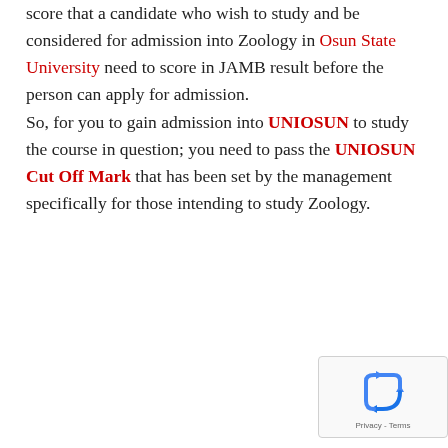score that a candidate who wish to study and be considered for admission into Zoology in Osun State University need to score in JAMB result before the person can apply for admission. So, for you to gain admission into UNIOSUN to study the course in question; you need to pass the UNIOSUN Cut Off Mark that has been set by the management specifically for those intending to study Zoology.
[Figure (other): reCAPTCHA widget with recycling arrows icon and Privacy - Terms footer text]